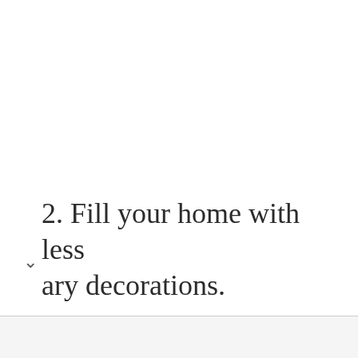2. Fill your home with less ary decorations.